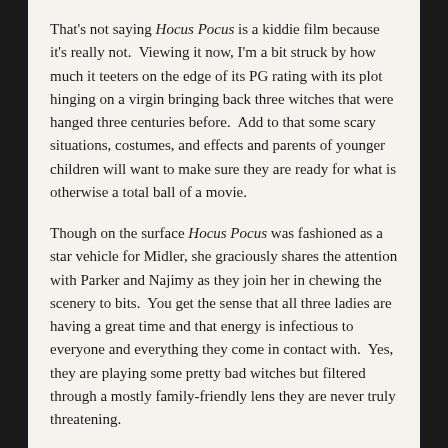That's not saying Hocus Pocus is a kiddie film because it's really not. Viewing it now, I'm a bit struck by how much it teeters on the edge of its PG rating with its plot hinging on a virgin bringing back three witches that were hanged three centuries before. Add to that some scary situations, costumes, and effects and parents of younger children will want to make sure they are ready for what is otherwise a total ball of a movie.
Though on the surface Hocus Pocus was fashioned as a star vehicle for Midler, she graciously shares the attention with Parker and Najimy as they join her in chewing the scenery to bits. You get the sense that all three ladies are having a great time and that energy is infectious to everyone and everything they come in contact with. Yes, they are playing some pretty bad witches but filtered through a mostly family-friendly lens they are never truly threatening.
As the trio of pesky kids that threaten to ruin the witches plans to drink up the lifeforce from all the children of Salem,